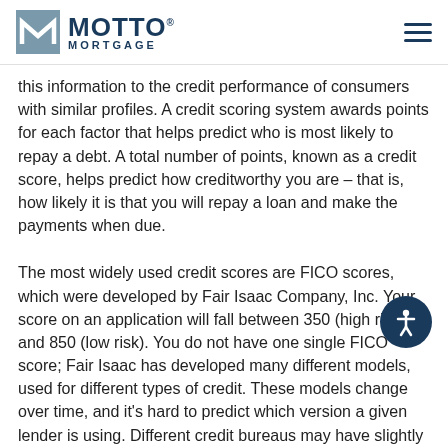MOTTO MORTGAGE
this information to the credit performance of consumers with similar profiles. A credit scoring system awards points for each factor that helps predict who is most likely to repay a debt. A total number of points, known as a credit score, helps predict how creditworthy you are – that is, how likely it is that you will repay a loan and make the payments when due.
The most widely used credit scores are FICO scores, which were developed by Fair Isaac Company, Inc. Your score on an application will fall between 350 (high risk) and 850 (low risk). You do not have one single FICO score; Fair Isaac has developed many different models, used for different types of credit. These models change over time, and it's hard to predict which version a given lender is using. Different credit bureaus may have slightly different information in their files on you, and those differences may or may not matter for a particular scoring model. Some companies will offer to sell you a credit score. It's important to understand